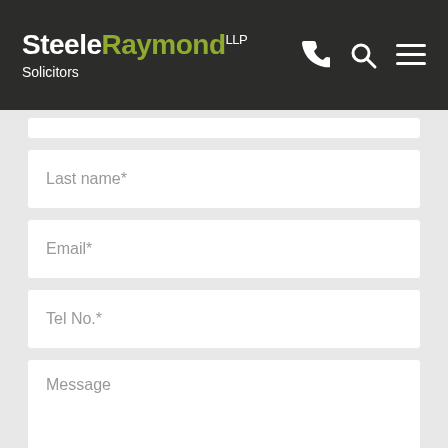[Figure (logo): SteeleRaymond LLP Solicitors logo in white and olive green on dark background, with phone, search and menu icons]
Last name*
Email*
Tel No.*
Message